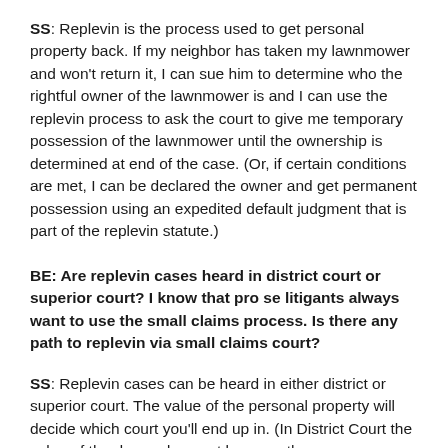SS: Replevin is the process used to get personal property back. If my neighbor has taken my lawnmower and won't return it, I can sue him to determine who the rightful owner of the lawnmower is and I can use the replevin process to ask the court to give me temporary possession of the lawnmower until the ownership is determined at end of the case. (Or, if certain conditions are met, I can be declared the owner and get permanent possession using an expedited default judgment that is part of the replevin statute.)
BE: Are replevin cases heard in district court or superior court? I know that pro se litigants always want to use the small claims process. Is there any path to replevin via small claims court?
SS: Replevin cases can be heard in either district or superior court. The value of the personal property will decide which court you'll end up in. (In District Court the value of the demand cannot be more than